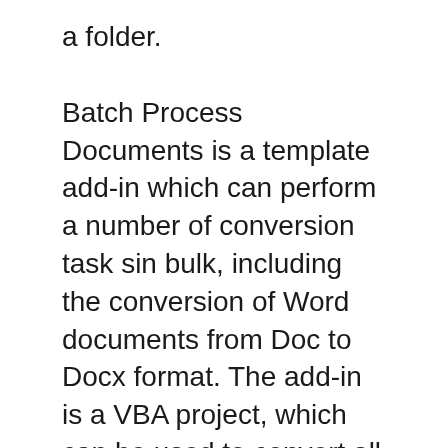a folder.
Batch Process Documents is a template add-in which can perform a number of conversion task sin bulk, including the conversion of Word documents from Doc to Docx format. The add-in is a VBA project, which can be used to convert all documents from a folder. Batch Document Converter Pro software features include Directory monitoring, FTP monitoring - secure FTP (SFTP) & POP3 Email monitoring with SSL & TLS support, Scheduler, Optional PDF Appending into one file for convert, PDF Portfolio file support, internal PDF page range conversion, drag & drop of files for ease of use, save, load, append